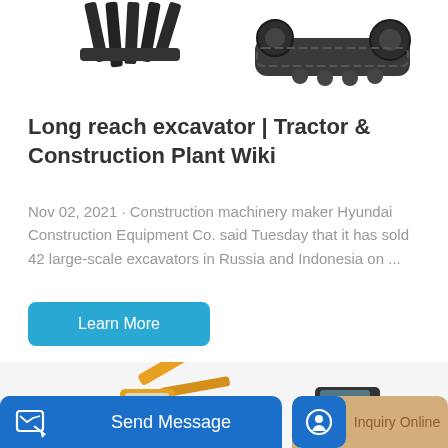[Figure (photo): Top partial view of a claw/ripper attachment (dark) on the left and a tracked undercarriage (dark gray) on the right against white background]
Long reach excavator | Tractor & Construction Plant Wiki
Nov 02, 2021 · Construction machinery maker Hyundai Construction Equipment Co. said Tuesday that it has sold 42 large-scale excavators in Russia and Indonesia on ...
[Figure (photo): Yellow LiuGong mini excavator on the left and a small black/grey excavator on the right, partially visible]
Send Message
Inquiry Online